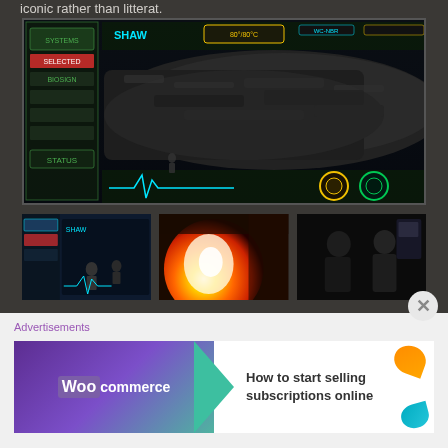iconic rather than litterat.
[Figure (screenshot): A sci-fi HUD interface showing a large dark alien/spacecraft with cyan and yellow overlay graphics, text reading SHAW at top left, technical readouts and an EKG waveform at the bottom.]
[Figure (photo): Three thumbnail images side by side: left shows sci-fi HUD interface with figures, middle shows a bright explosion or fire with golden light, right shows two people in a dark setting.]
In addition to the iconic EKG, a red selection rectangle regularly changes across a list in the upper left hand corner of the monitor screens. One of three cyan numbers near the top occasionally changes. Otherwise the peripheral data on these monitoring
Advertisements
[Figure (screenshot): WooCommerce advertisement banner: purple background with WooCommerce logo and teal arrow, white panel with text 'How to start selling subscriptions online', orange and teal leaf accents on right side.]